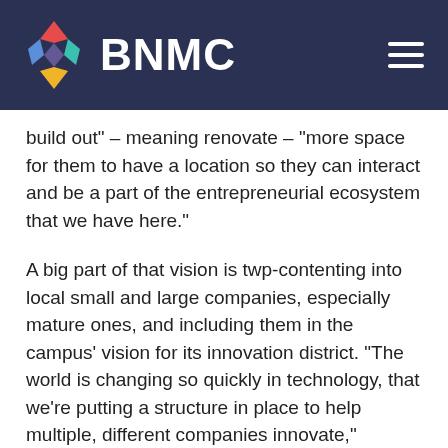[Figure (logo): BNMC logo with colorful diamond shapes (red, blue, teal, yellow) and white text 'BNMC' on dark navy header, with hamburger menu icon on right]
build out" – meaning renovate – "more space for them to have a location so they can interact and be a part of the entrepreneurial ecosystem that we have here."
A big part of that vision is twp-contenting into local small and large companies, especially mature ones, and including them in the campus' vision for its innovation district. "The world is changing so quickly in technology, that we're putting a structure in place to help multiple, different companies innovate," Enstice said.